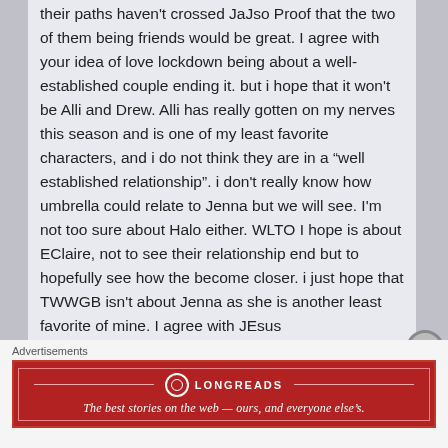their paths haven't crossed JaJso Proof that the two of them being friends would be great. I agree with your idea of love lockdown being about a well-established couple ending it. but i hope that it won't be Alli and Drew. Alli has really gotten on my nerves this season and is one of my least favorite characters, and i do not think they are in a "well established relationship". i don't really know how umbrella could relate to Jenna but we will see. I'm not too sure about Halo either. WLTO I hope is about EClaire, not to see their relationship end but to hopefully see how the become closer. i just hope that TWWGB isn't about Jenna as she is another least favorite of mine. I agree with JEsus
Advertisements
[Figure (other): Longreads advertisement banner — red background with Longreads logo (circle icon) and tagline: The best stories on the web — ours, and everyone else's.]